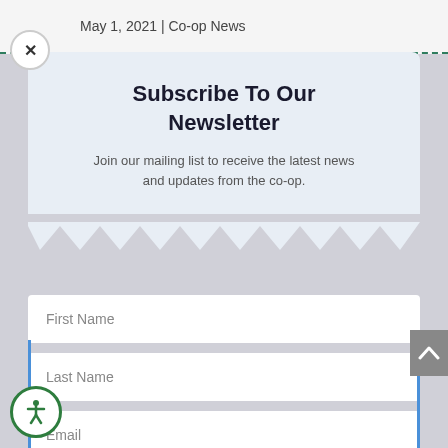May 1, 2021 | Co-op News
Subscribe To Our Newsletter
Join our mailing list to receive the latest news and updates from the co-op.
First Name
Last Name
Email
SUBSCRIBE!